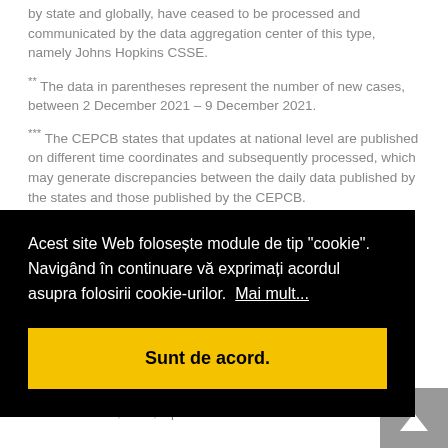by state and globally, have ceased to be processed and communicated by the data aggregation center of this type, namely Johns Hopkins CSSE.
** The data in parentheses represent the number of new cases, between 2 December 2021 – 9 December 2021.
*** The CEPCB states that updates at national level are published on different time coordinates and subsequently processed, which may generate discrepancies between the daily data published by the states and those published by the CEPCB.
Acest site Web folosește module de tip "cookie". Navigând în continuare vă exprimați acordul asupra folosirii cookie-urilor.  Mai mult...
Sunt de acord.
December 12th, 2021, 1 p.m.